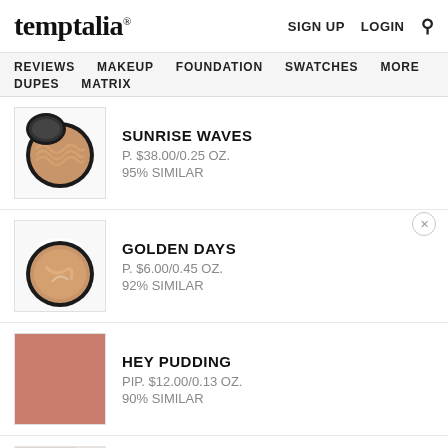temptalia® — SIGN UP  LOGIN  🔍
REVIEWS  MAKEUP  FOUNDATION  SWATCHES  MORE  DUPES  MATRIX
[Figure (photo): Compact makeup product - Sunrise Waves baked highlighter/bronzer in black compact, open lid showing wave pattern]
SUNRISE WAVES
P. $38.00/0.25 OZ.
95% SIMILAR
[Figure (photo): Compact makeup product - Golden Days baked blush/bronzer in black round compact]
GOLDEN DAYS
P. $6.00/0.45 OZ.
92% SIMILAR
[Figure (photo): Hey Pudding blush swatch - flat peachy-pink square swatch]
HEY PUDDING
PIP. $12.00/0.13 OZ.
90% SIMILAR
[Figure (photo): Diffused Heat - partial view of light pink pressed powder compact]
DIFFUSED HEAT
P. $40.00/0.15 OZ.